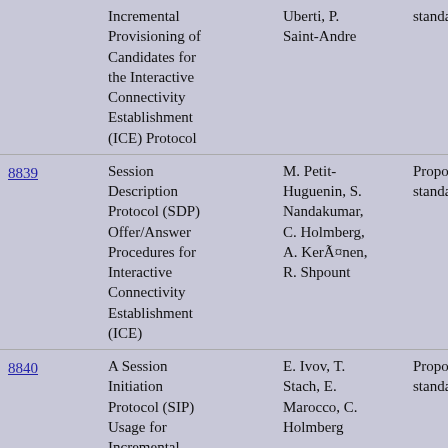| RFC | Title | Authors | Status |
| --- | --- | --- | --- |
|  | Incremental Provisioning of Candidates for the Interactive Connectivity Establishment (ICE) Protocol | Uberti, P. Saint-Andre | standard |
| 8839 | Session Description Protocol (SDP) Offer/Answer Procedures for Interactive Connectivity Establishment (ICE) | M. Petit-Huguenin, S. Nandakumar, C. Holmberg, A. Kerä¤nen, R. Shpount | Proposed standard |
| 8840 | A Session Initiation Protocol (SIP) Usage for Incremental Provisioning of Candidates for the Interactive Connectivity | E. Ivov, T. Stach, E. Marocco, C. Holmberg | Proposed standard |